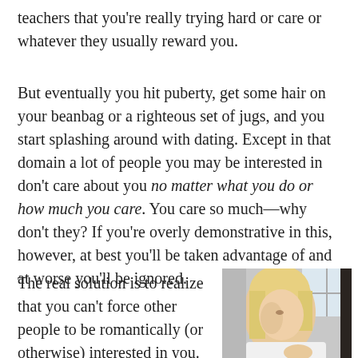teachers that you're really trying hard or care or whatever they usually reward you.
But eventually you hit puberty, get some hair on your beanbag or a righteous set of jugs, and you start splashing around with dating. Except in that domain a lot of people you may be interested in don't care about you no matter what you do or how much you care. You care so much—why don't they? If you're overly demonstrative in this, however, at best you'll be taken advantage of and at worse you'll be ignored.
The real solution is to realize that you can't force other people to be romantically (or otherwise) interested in you. In a romantic context, extended
[Figure (photo): Photo of a blonde woman in profile, indoors near a window]